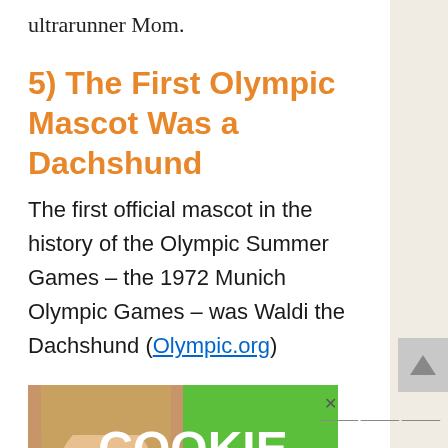ultrarunner Mom.
5) The First Olympic Mascot Was a Dachshund
The first official mascot in the history of the Olympic Summer Games – the 1972 Munich Olympic Games – was Waldi the Dachshund (Olympic.org)
[Figure (photo): Advertisement featuring a young girl smiling with green background and large white text reading COOKIE DOUGH]
[Figure (infographic): Alzheimer's awareness advertisement banner reading It's time to talk about Alzheimer's with a LEARN MORE button and Alzheimer's Association logo]